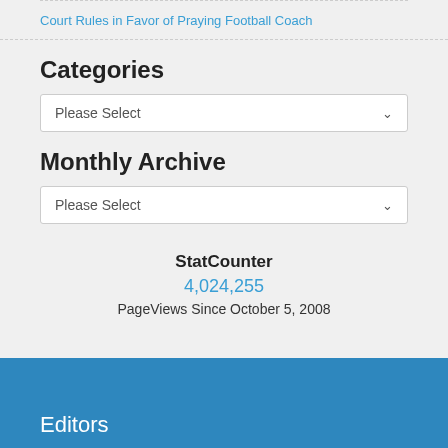Court Rules in Favor of Praying Football Coach
Categories
Please Select
Monthly Archive
Please Select
StatCounter
4,024,255
PageViews Since October 5, 2008
Editors